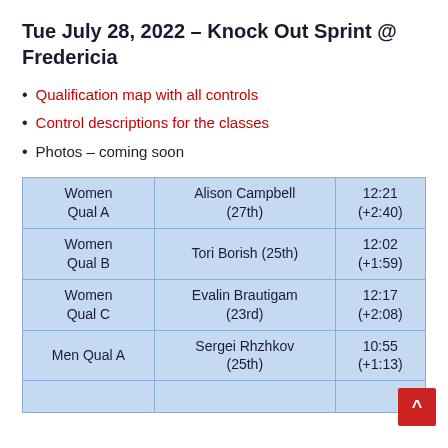Tue July 28, 2022 – Knock Out Sprint @ Fredericia
Qualification map with all controls
Control descriptions for the classes
Photos – coming soon
| Category | Name | Time |
| --- | --- | --- |
| Women Qual A | Alison Campbell (27th) | 12:21 (+2:40) |
| Women Qual B | Tori Borish (25th) | 12:02 (+1:59) |
| Women Qual C | Evalin Brautigam (23rd) | 12:17 (+2:08) |
| Men Qual A | Sergei Rhzhkov (25th) | 10:55 (+1:13) |